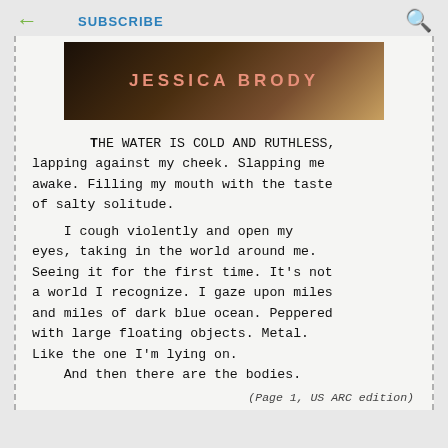← (back) | SUBSCRIBE | 🔍 (search)
[Figure (illustration): Dark gradient banner with the author name JESSICA BRODY in pink/salmon letters on a dark brown-to-gold gradient background]
THE WATER IS COLD AND RUTHLESS, lapping against my cheek. Slapping me awake. Filling my mouth with the taste of salty solitude.

I cough violently and open my eyes, taking in the world around me. Seeing it for the first time. It's not a world I recognize. I gaze upon miles and miles of dark blue ocean. Peppered with large floating objects. Metal. Like the one I'm lying on.

And then there are the bodies.
(Page 1, US ARC edition)